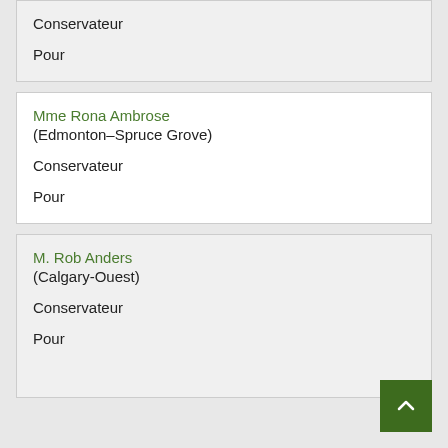Conservateur
Pour
Mme Rona Ambrose (Edmonton–Spruce Grove)
Conservateur
Pour
M. Rob Anders (Calgary-Ouest)
Conservateur
Pour